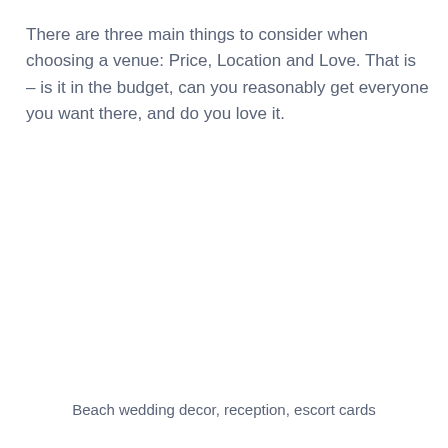There are three main things to consider when choosing a venue: Price, Location and Love. That is – is it in the budget, can you reasonably get everyone you want there, and do you love it.
Beach wedding decor, reception, escort cards